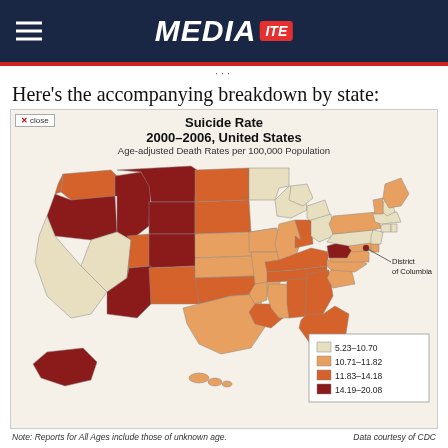MEDIAITE
Here’s the accompanying breakdown by state:
[Figure (map): Choropleth map of the United States showing Suicide Rate 2000-2006, United States. Age-adjusted Death Rates per 100,000 Population. Four color categories: 5.23-10.70 (lightest/cream), 10.71-11.82 (light orange), 11.83-14.18 (medium orange), 14.19-20.08 (dark red/maroon). Western states show highest rates (dark red). Eastern/coastal states show lower rates. District of Columbia labeled separately.]
Note: Reports for All Ages include those of unknown age.
Data courtesy of CDC